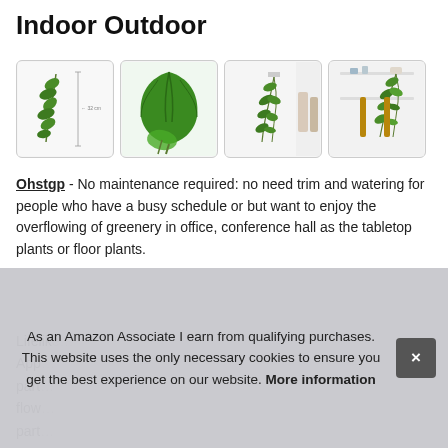Indoor Outdoor
[Figure (photo): Four product photos of artificial hanging ivy/leaf plants in white frames arranged in a row.]
Ohstgp - No maintenance required: no need trim and watering for people who have a busy schedule or but want to enjoy the overflowing of greenery in office, conference hall as the tabletop plants or floor plants.
Lifelike... App... part... flow... part... (partially obscured by cookie banner)
As an Amazon Associate I earn from qualifying purchases. This website uses the only necessary cookies to ensure you get the best experience on our website. More information